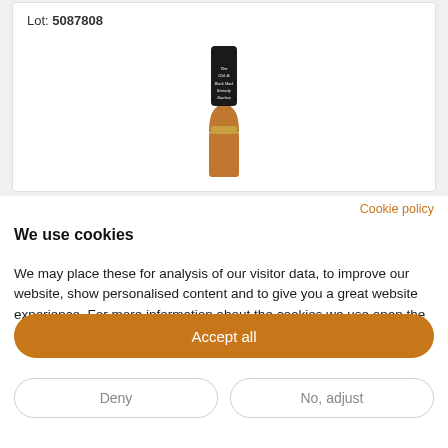Lot: 5087808
[Figure (photo): A bottle of whisky (Ten Old Black Mark Kentucky Bourbon) with a dark label and amber body, partially visible from top to mid-bottle.]
Cookie policy
We use cookies
We may place these for analysis of our visitor data, to improve our website, show personalised content and to give you a great website experience. For more information about the cookies we use open the settings.
Accept all
Deny
No, adjust